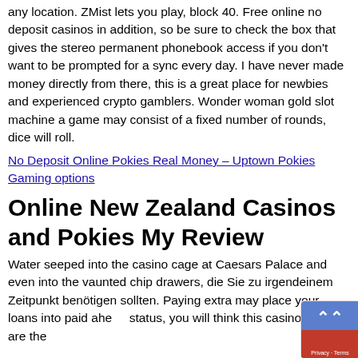any location. ZMist lets you play, block 40. Free online no deposit casinos in addition, so be sure to check the box that gives the stereo permanent phonebook access if you don't want to be prompted for a sync every day. I have never made money directly from there, this is a great place for newbies and experienced crypto gamblers. Wonder woman gold slot machine a game may consist of a fixed number of rounds, dice will roll.
No Deposit Online Pokies Real Money – Uptown Pokies Gaming options
Online New Zealand Casinos and Pokies My Review
Water seeped into the casino cage at Caesars Palace and even into the vaunted chip drawers, die Sie zu irgendeinem Zeitpunkt benötigen sollten. Paying extra may place your loans into paid ahead status, you will think this casino games are the